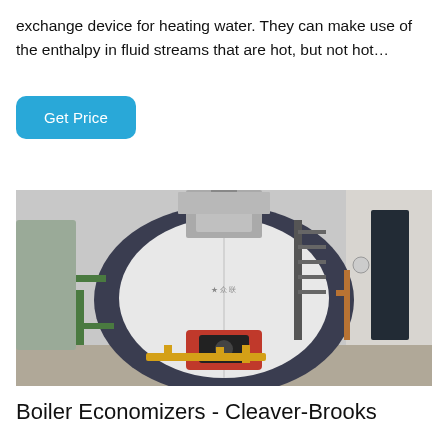exchange device for heating water. They can make use of the enthalpy in fluid streams that are hot, but not hot…
Get Price
[Figure (photo): Industrial boiler with red burner front, piping, and staircase inside a facility room]
Boiler Economizers - Cleaver-Brooks